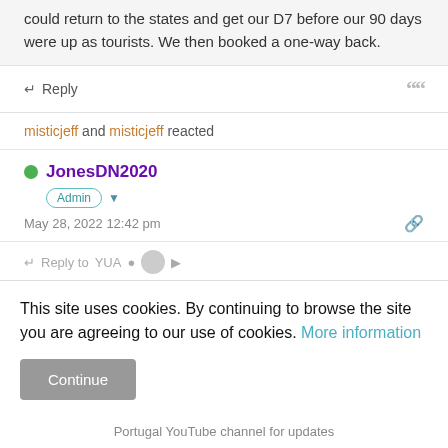could return to the states and get our D7 before our 90 days were up as tourists. We then booked a one-way back.
Reply
misticjeff and misticjeff reacted
JonesDN2020
Admin
May 28, 2022 12:42 pm
Reply to YUA
This site uses cookies. By continuing to browse the site you are agreeing to our use of cookies. More information
Portugal YouTube channel for updates